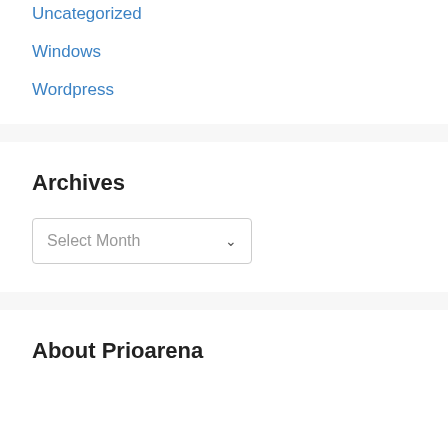Uncategorized
Windows
Wordpress
Archives
Select Month
About Prioarena